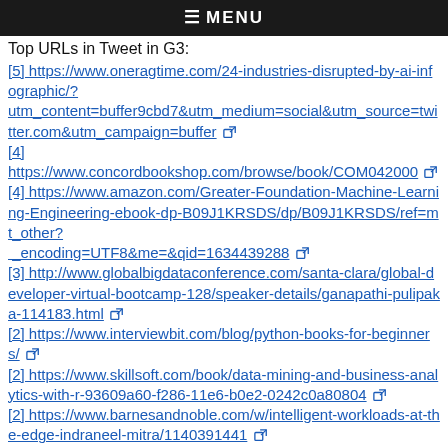≡ MENU
Top URLs in Tweet in G3:
[5] https://www.oneragtime.com/24-industries-disrupted-by-ai-infographic/?utm_content=buffer9cbd7&utm_medium=social&utm_source=twitter.com&utm_campaign=buffer
[4] https://www.concordbookshop.com/browse/book/COM042000
[4] https://www.amazon.com/Greater-Foundation-Machine-Learning-Engineering-ebook-dp-B09J1KRSDS/dp/B09J1KRSDS/ref=mt_other?_encoding=UTF8&me=&qid=1634439288
[3] http://www.globalbigdataconference.com/santa-clara/global-developer-virtual-bootcamp-128/speaker-details/ganapathi-pulipaka-114183.html
[2] https://www.interviewbit.com/blog/python-books-for-beginners/
[2] https://www.skillsoft.com/book/data-mining-and-business-analytics-with-r-93609a60-f286-11e6-b0e2-0242c0a80804
[2] https://www.barnesandnoble.com/w/intelligent-workloads-at-the-edge-indraneel-mitra/1140391441
[2] https://www.routledge.com/Internet-of-Things-Robotic-and-Drone-Technology/Goyal-Sharma-Rana-Tripathi/p/book/9780367754532
[2] https://news.mit.edu/2022/brave-behind-bars-mit-prison-education-computing-skills-formen-01133